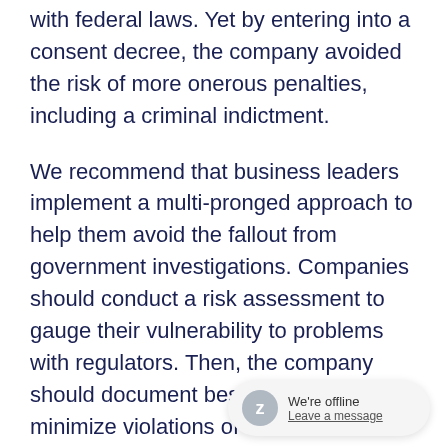with federal laws. Yet by entering into a consent decree, the company avoided the risk of more onerous penalties, including a criminal indictment.
We recommend that business leaders implement a multi-pronged approach to help them avoid the fallout from government investigations. Companies should conduct a risk assessment to gauge their vulnerability to problems with regulators. Then, the company should document best practices to minimize violations of law. The company should also create robust compliance training programs.
Proper compliance training can lessen a company's vulnerability to costly consent decrees or settlements with government